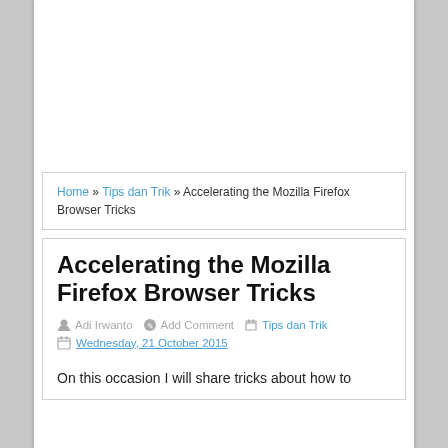[Figure (other): White advertisement area placeholder at top of page]
Home » Tips dan Trik » Accelerating the Mozilla Firefox Browser Tricks
Accelerating the Mozilla Firefox Browser Tricks
Adi Irwanto   Add Comment   Tips dan Trik   Wednesday, 21 October 2015
On this occasion I will share tricks about how to